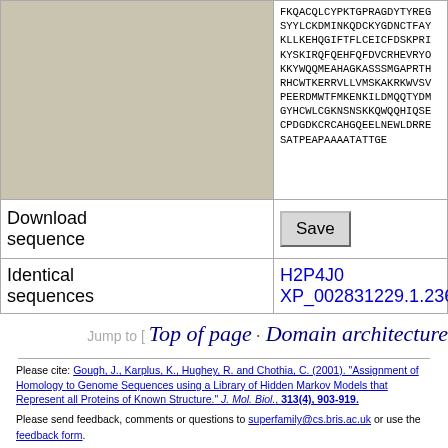|  |  |
| --- | --- |
| (merged/continued) | FKQACQLCYPKTGPRAGDYTYREG
SYYLCKDMINKQDCKYGDNCTFAY
KLLKEHQGIFTFLCEICFDSKPRI
KYSKIRQFQEHFQFDVCRHEVRYG
KKYWQQMEAHAGKASSSMGAPRTH
RHCWTKERRVLLVMSKAKRKWVSV
PEERDMWTFMKENKILDMQQTYDM
GYHCWLCGKNSNSKKQWQQHIQSE
CPDGDKCRCAHGQEELNEWLDRRE
SATPEAPAAAATATTGE |
| Download sequence | Save |
| Identical sequences | H2P4J0
XP_002831229.1.23681 |
Jump to [ Top of page · Domain architecture
Please cite: Gough, J., Karplus, K., Hughey, R. and Chothia, C. (2001). "Assignment of Homology to Genome Sequences using a Library of Hidden Markov Models that Represent all Proteins of Known Structure." J. Mol. Biol., 313(4), 903-919.
Please send feedback, comments or questions to superfamily@cs.bris.ac.uk or use the feedback form.
© Copyright 2013 The SUPERFAMILY authors and Julian Gough.